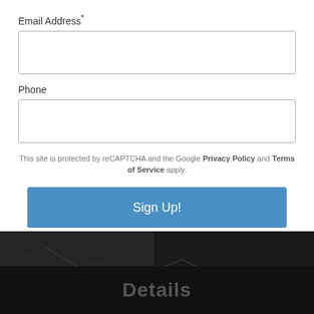Email Address*
Phone
This site is protected by reCAPTCHA and the Google Privacy Policy and Terms of Service apply.
Sign Up!
Log in
[Figure (photo): Dark background with a hand holding something, dimly lit texture with geometric pattern]
Details